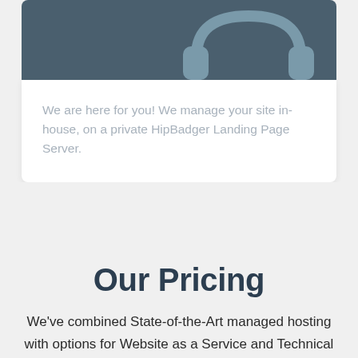[Figure (illustration): Dark teal/slate colored card header with a headset icon (customer support headset with two ear cups) rendered in a slightly lighter gray on the right side]
We are here for you! We manage your site in-house, on a private HipBadger Landing Page Server.
Our Pricing
We've combined State-of-the-Art managed hosting with options for Website as a Service and Technical SEO. There's